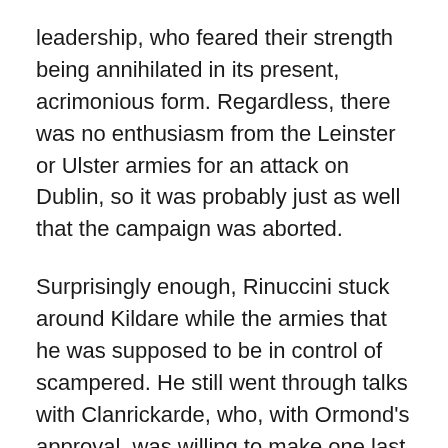leadership, who feared their strength being annihilated in its present, acrimonious form. Regardless, there was no enthusiasm from the Leinster or Ulster armies for an attack on Dublin, so it was probably just as well that the campaign was aborted.
Surprisingly enough, Rinuccini stuck around Kildare while the armies that he was supposed to be in control of scampered. He still went through talks with Clanrickarde, who, with Ormond's approval, was willing to make one last big concession: agreeing to the occupation of Dublin with the formerly stated terms, but only if the troops doing it were the Leinster Army under Preston. Though Preston was eager, Rinuccini balked at what he feared was conspiracy, and Preston never got his chance. Clanrickarde was left alienated by the whole exercise, his